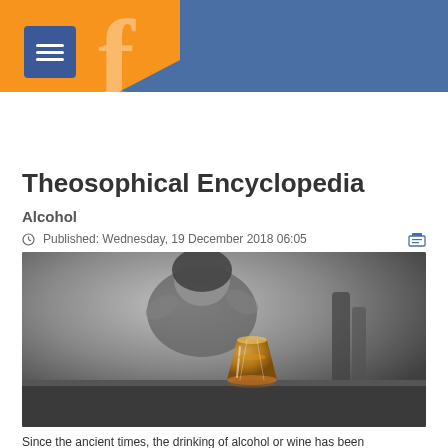Theosophical Encyclopedia website header with logo and navigation
Theosophical Encyclopedia
Alcohol
Published: Wednesday, 19 December 2018 06:05
[Figure (photo): Black and white photo of a distressed woman with her hands on her head, in the background, with a glass of amber whiskey/alcohol in the foreground on a table.]
Since the ancient times, the drinking of alcohol or wine has been